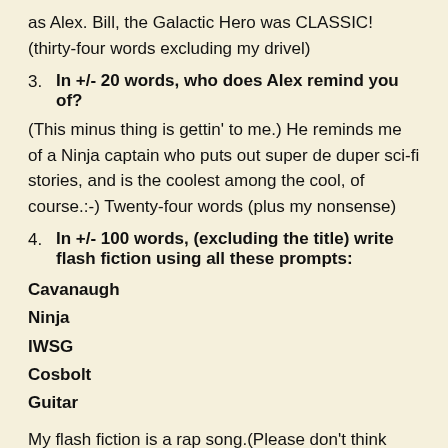as Alex. Bill, the Galactic Hero was CLASSIC! (thirty-four words excluding my drivel)
3.  In +/- 20 words, who does Alex remind you of?
(This minus thing is gettin' to me.) He reminds me of a Ninja captain who puts out super de duper sci-fi stories, and is the coolest among the cool, of course.:-) Twenty-four words (plus my nonsense)
4.  In +/- 100 words, (excluding the title) write flash fiction using all these prompts:
Cavanaugh
Ninja
IWSG
Cosbolt
Guitar
My flash fiction is a rap song.(Please don't think about me doing the rap to this song.) No. Really.